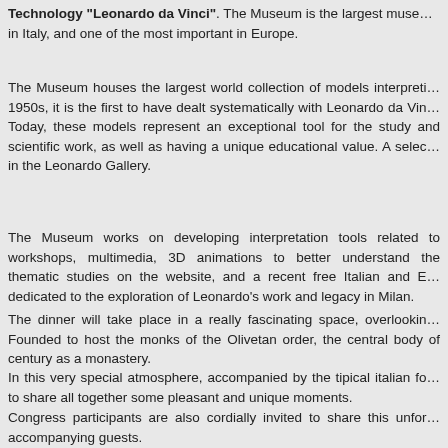Technology "Leonardo da Vinci". The Museum is the largest museum in Italy, and one of the most important in Europe.
The Museum houses the largest world collection of models interpreting 1950s, it is the first to have dealt systematically with Leonardo da Vinci. Today, these models represent an exceptional tool for the study and scientific work, as well as having a unique educational value. A selection in the Leonardo Gallery.
The Museum works on developing interpretation tools related to workshops, multimedia, 3D animations to better understand the thematic studies on the website, and a recent free Italian and English dedicated to the exploration of Leonardo's work and legacy in Milan.
The dinner will take place in a really fascinating space, overlooking. Founded to host the monks of the Olivetan order, the central body of century as a monastery.
In this very special atmosphere, accompanied by the tipical italian food to share all together some pleasant and unique moments.
Congress participants are also cordially invited to share this unforgettable accompanying guests.